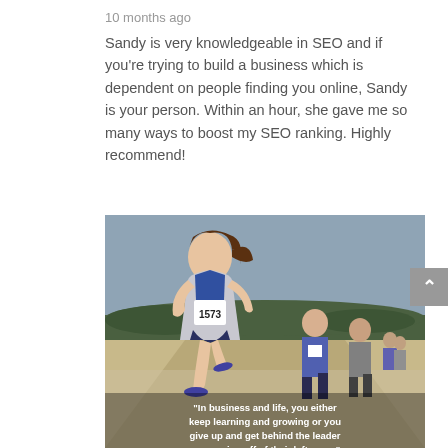10 months ago
Sandy is very knowledgeable in SEO and if you're trying to build a business which is dependent on people finding you online, Sandy is your person. Within an hour, she gave me so many ways to boost my SEO ranking. Highly recommend!
[Figure (photo): A smiling female runner in a race wearing bib number 1573 in the foreground, with other runners behind her on a dirt road. Overlaid text quote: "In business and life, you either keep learning and growing or you give up and get behind the leader scrounging off of their leftovers."]